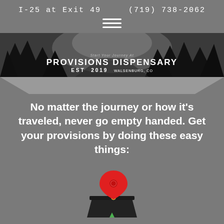I-25 at Exit 49    (719) 738-2062
[Figure (logo): Provisions Dispensary banner with forest/trees background. Text reads: Start Your Journey At / PROVISIONS DISPENSARY / EST. 2019 WALSENBURG, CO]
No matter the journey or how it’s traveled, never go empty handed. Get your provisions by doing these easy things:
[Figure (illustration): Map location pin icon (red teardrop with circle hole) on a dark platform/kiosk with a small green triangle at the base]